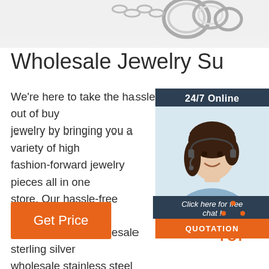[Figure (photo): Partial view of silver jewelry (rings/chain) at top of page]
Wholesale Jewelry Su...
We're here to take the hassle out of buying jewelry by bringing you a variety of high fashion-forward jewelry pieces all in one store. Our hassle-free process for purchasing premium-grade wholesale sterling silver and wholesale stainless steel jewelry will keep your customers, coming back time after...
[Figure (infographic): 24/7 Online chat widget with woman wearing headset, 'Click here for free chat!' text, and orange QUOTATION button]
Get Price
[Figure (logo): Orange TOP icon with dots arranged as upward triangle above the word TOP]